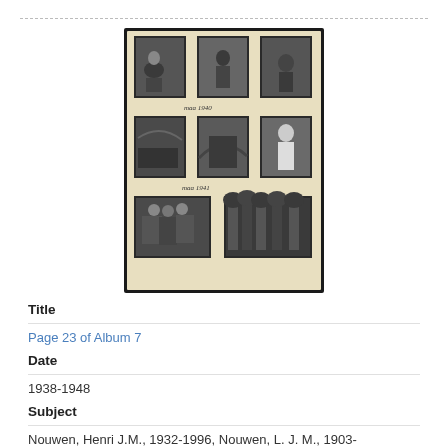[Figure (photo): A vintage photo album page showing 7 black-and-white photographs arranged in a 3x3 grid (with some gaps). The album page has a cream/beige background. Top row has 3 photos of people outdoors. Middle row has 3 photos including landscapes and a person in white. Bottom row has 2 group photos. Handwritten captions in cursive visible between rows.]
Title
Page 23 of Album 7
Date
1938-1948
Subject
Nouwen, Henri J.M., 1932-1996, Nouwen, L. J. M., 1903-